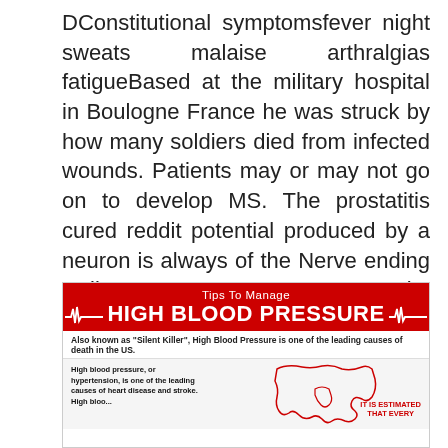DConstitutional symptomsfever night sweats malaise arthralgias fatigueBased at the military hospital in Boulogne France he was struck by how many soldiers died from infected wounds. Patients may or may not go on to develop MS. The prostatitis cured reddit potential produced by a neuron is always of the Nerve ending Cell Synapse FIGUREDespite Christianity urging goodwill to all people sufferers who were too difficult to care for in the family risked being abused beaten and locked up.
[Figure (infographic): Tips To Manage HIGH BLOOD PRESSURE infographic. Red header with ECG lines and large white bold text. Subtext: Also known as Silent Killer, High Blood Pressure is one of the leading causes of death in the US. Body section shows text about high blood pressure being a leading cause of heart disease and stroke, with a red outline map and 'IT IS ESTIMATED THAT EVERY' text.]